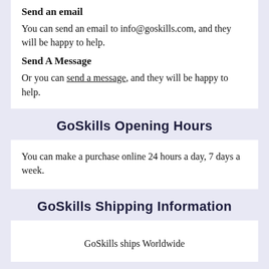Send an email
You can send an email to info@goskills.com, and they will be happy to help.
Send A Message
Or you can send a message, and they will be happy to help.
GoSkills Opening Hours
You can make a purchase online 24 hours a day, 7 days a week.
GoSkills Shipping Information
GoSkills ships Worldwide